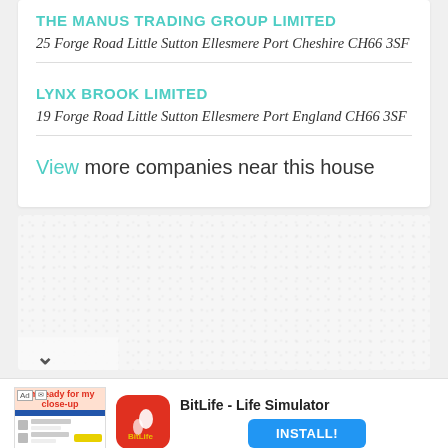THE MANUS TRADING GROUP LIMITED
25 Forge Road Little Sutton Ellesmere Port Cheshire CH66 3SF
LYNX BROOK LIMITED
19 Forge Road Little Sutton Ellesmere Port England CH66 3SF
View more companies near this house
[Figure (map): Map area with dotted/textured pattern showing geographic area, partially visible with a chevron/down arrow at bottom left]
[Figure (screenshot): BitLife - Life Simulator advertisement banner with app icon, title, and INSTALL! button]